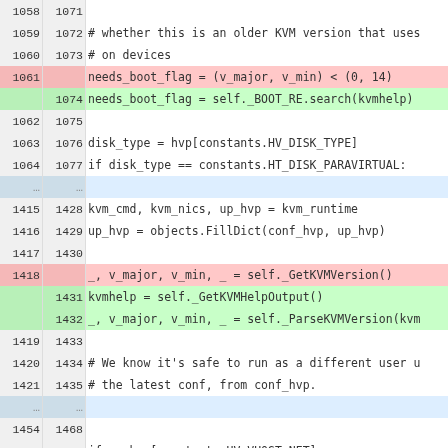| old | new | code |
| --- | --- | --- |
| 1058 | 1071 |  |
| 1059 | 1072 |     # whether this is an older KVM version that uses |
| 1060 | 1073 |     # on devices |
| 1061 |  |     needs_boot_flag = (v_major, v_min) < (0, 14) |
|  | 1074 |     needs_boot_flag = self._BOOT_RE.search(kvmhelp) |
| 1062 | 1075 |  |
| 1063 | 1076 |     disk_type = hvp[constants.HV_DISK_TYPE] |
| 1064 | 1077 |     if disk_type == constants.HT_DISK_PARAVIRTUAL: |
| … | … |  |
| 1415 | 1428 |     kvm_cmd, kvm_nics, up_hvp = kvm_runtime |
| 1416 | 1429 |     up_hvp = objects.FillDict(conf_hvp, up_hvp) |
| 1417 | 1430 |  |
| 1418 |  |     _, v_major, v_min, _ = self._GetKVMVersion() |
|  | 1431 |     kvmhelp = self._GetKVMHelpOutput() |
|  | 1432 |     _, v_major, v_min, _ = self._ParseKVMVersion(kvm |
| 1419 | 1433 |  |
| 1420 | 1434 |     # We know it's safe to run as a different user u |
| 1421 | 1435 |     # the latest conf, from conf_hvp. |
| … | … |  |
| 1454 | 1468 |  |
| 1455 | 1469 |     if up_hvp[constants.HV_VHOST_NET]: |
| 1456 | 1470 |         # vhost_net is only available from version |
| 1457 |  |         if (v_major, v_min) >= (0, 13): |
|  | 1471 |         if self._VHOST_RE.search(kvmhelp): |
| 1458 | 1472 |             tap_extra = ",vhost=on" |
| 1459 | 1473 |         else: |
| 1460 | 1474 |             raise errors.HypervisorError("vhost_net |